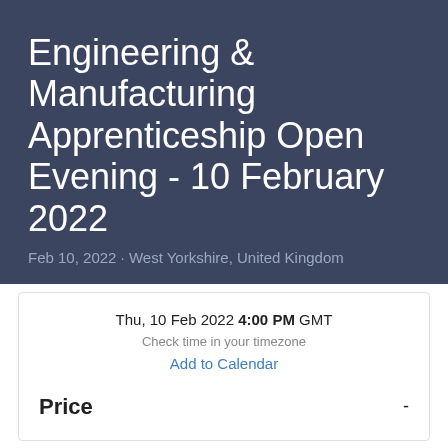Engineering & Manufacturing Apprenticeship Open Evening - 10 February 2022
Feb 10, 2022 · West Yorkshire, United Kingdom
Thu, 10 Feb 2022 4:00 PM GMT
Check time in your timezone
Add to Calendar
Price -
Representing over 200 engineering and